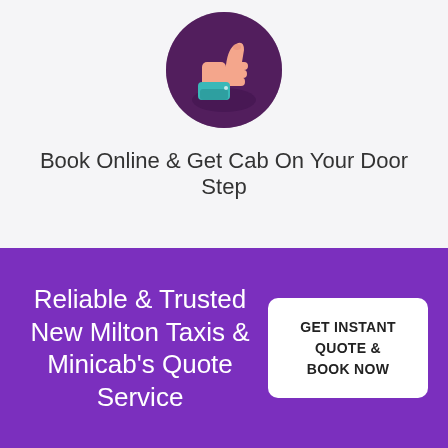[Figure (illustration): Thumbs up icon inside a dark circular background, hand wearing a teal sleeve]
Book Online & Get Cab On Your Door Step
Reliable & Trusted New Milton Taxis & Minicab's Quote Service
GET INSTANT QUOTE & BOOK NOW